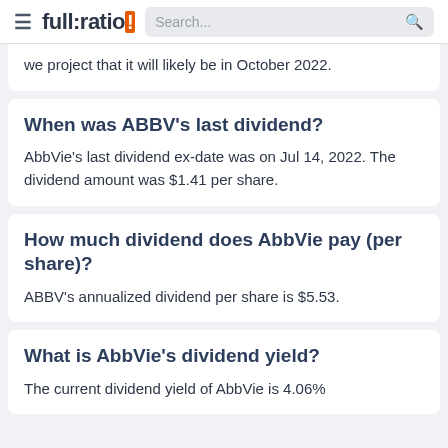full:ratio | Search...
we project that it will likely be in October 2022.
When was ABBV's last dividend?
AbbVie's last dividend ex-date was on Jul 14, 2022. The dividend amount was $1.41 per share.
How much dividend does AbbVie pay (per share)?
ABBV's annualized dividend per share is $5.53.
What is AbbVie's dividend yield?
The current dividend yield of AbbVie is 4.06%